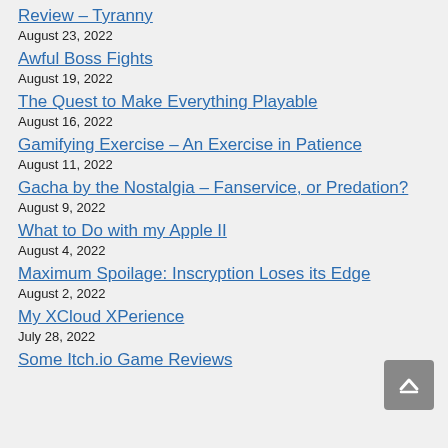Review – Tyranny
August 23, 2022
Awful Boss Fights
August 19, 2022
The Quest to Make Everything Playable
August 16, 2022
Gamifying Exercise – An Exercise in Patience
August 11, 2022
Gacha by the Nostalgia – Fanservice, or Predation?
August 9, 2022
What to Do with my Apple II
August 4, 2022
Maximum Spoilage: Inscryption Loses its Edge
August 2, 2022
My XCloud XPerience
July 28, 2022
Some Itch.io Game Reviews